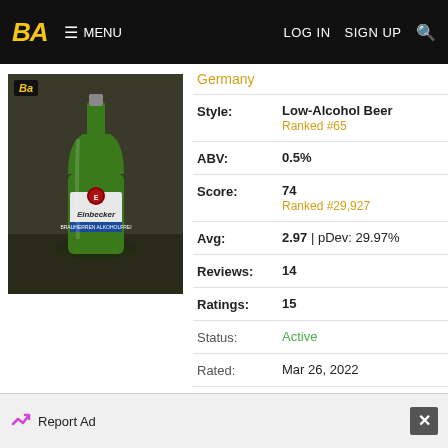BA  MENU  LOG IN  SIGN UP
[Figure (photo): Green glass Einbecker beer bottle with label, on a dark background. Small BA badge in top-left corner.]
Germany
| Field | Value |
| --- | --- |
| Style: | Low-Alcohol Beer
Ranked #65 |
| ABV: | 0.5% |
| Score: | 74
Ranked #29,927 |
| Avg: | 2.97 | pDev: 29.97% |
| Reviews: | 14 |
| Ratings: | 15 |
| Status: | Active |
| Rated: | Mar 26, 2022 |
| Added: | Nov 03, 2007 |
| Wants: | ☐ 1 |
| Gots: | ☐ 8 |
Report Ad  ✕